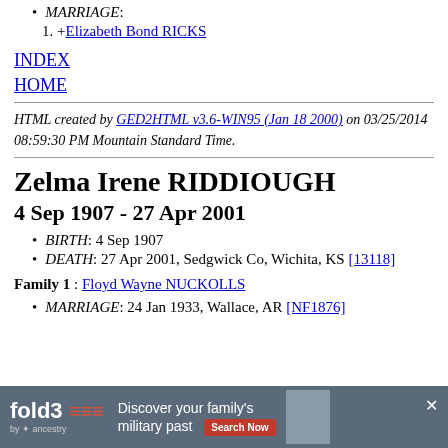MARRIAGE:
1. +Elizabeth Bond RICKS
INDEX
HOME
HTML created by GED2HTML v3.6-WIN95 (Jan 18 2000) on 03/25/2014 08:59:30 PM Mountain Standard Time.
Zelma Irene RIDDIOUGH
4 Sep 1907 - 27 Apr 2001
BIRTH: 4 Sep 1907
DEATH: 27 Apr 2001, Sedgwick Co, Wichita, KS [13118]
Family 1 : Floyd Wayne NUCKOLLS
MARRIAGE: 24 Jan 1933, Wallace, AR [NF1876]